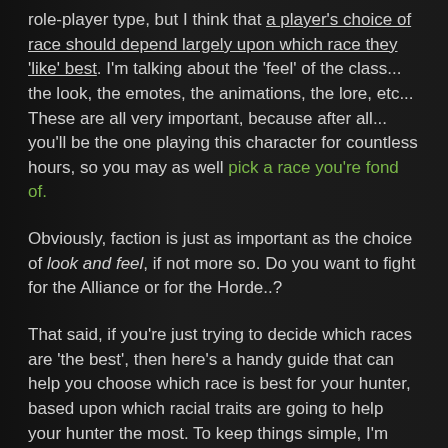role-player type, but I think that a player's choice of race should depend largely upon which race they 'like' best. I'm talking about the 'feel' of the class... the look, the emotes, the animations, the lore, etc... These are all very important, because after all... you'll be the one playing this character for countless hours, so you may as well pick a race you're fond of.
Obviously, faction is just as important as the choice of look and feel, if not more so. Do you want to fight for the Alliance or for the Horde..?
That said, if you're just trying to decide which races are 'the best', then here's a handy guide that can help you choose which race is best for your hunter, based upon which racial traits are going to help your hunter the most. To keep things simple, I'm mainly focusing on PvE and PvP. I figure anyone looking for 'the best choice' is